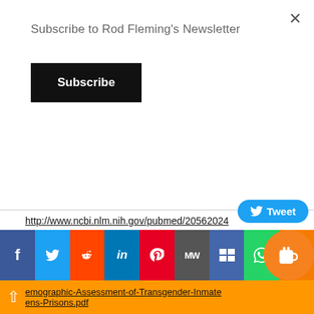Subscribe to Rod Fleming's Newsletter
Subscribe
http://www.ncbi.nlm.nih.gov/pubmed/20562024
Savic & Arver. Sex dimorphism of the brain in male-to-female transsexuals. 2011 http://www.ncbi.nlm.nih.gov/pubmed/21467211
Sexton, L et al Where the Margins Meet: A Demographic Assessment of Transgender Inmates in Male Prisons
emographic-Assessment-of-Transgender-Inmates-Prisons.pdf
[Figure (screenshot): Social share bar with icons for Facebook, Twitter, Reddit, LinkedIn, Pinterest, MeWe, Mix, WhatsApp, and a number button, plus Tweet button overlay and coffee/donate button]